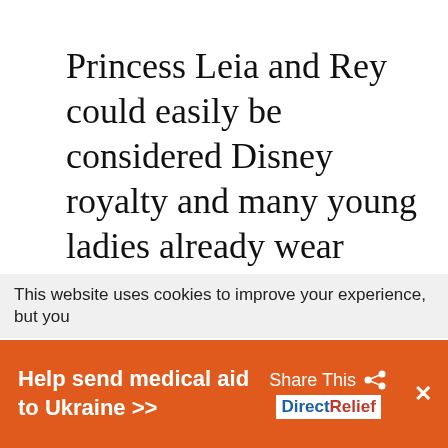Princess Leia and Rey could easily be considered Disney royalty and many young ladies already wear their costumes around the parks on a regular basis. While Leia and Rey are not currently represented at the Bibbidi Bobbidi Boutiques, it may be that with the opening of Star Wars: Galaxy's Edge at Disney's Hollywood Studios that possibility may turn into a reality soon.
This website uses cookies to improve your experience, but you
Help send medical aid to Ukraine >> Share This DirectRelief ×